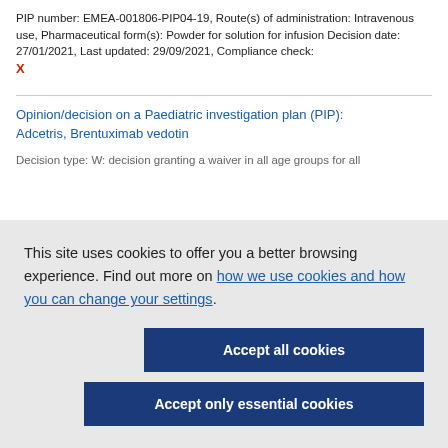PIP number: EMEA-001806-PIP04-19, Route(s) of administration: Intravenous use, Pharmaceutical form(s): Powder for solution for infusion Decision date: 27/01/2021, Last updated: 29/09/2021, Compliance check: X
Opinion/decision on a Paediatric investigation plan (PIP): Adcetris, Brentuximab vedotin
Decision type: W: decision granting a waiver in all age groups for all
This site uses cookies to offer you a better browsing experience. Find out more on how we use cookies and how you can change your settings.
Accept all cookies
Accept only essential cookies